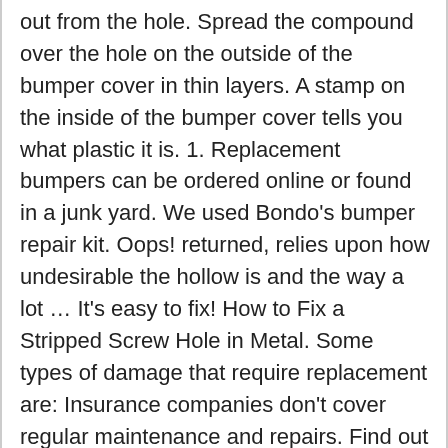out from the hole. Spread the compound over the hole on the outside of the bumper cover in thin layers. A stamp on the inside of the bumper cover tells you what plastic it is. 1. Replacement bumpers can be ordered online or found in a junk yard. We used Bondo's bumper repair kit. Oops! returned, relies upon how undesirable the hollow is and the way a lot … It's easy to fix! How to Fix a Stripped Screw Hole in Metal. Some types of damage that require replacement are: Insurance companies don't cover regular maintenance and repairs. Find out how much you can save, today! Apply the filler or adhesive following the instructions given by the manufacturer. Always make sure your bumper is able to be repaired and doesn't need to be replaced. Plastic Bumper Repair: For the original story, go to PopularMechanics.com We've all been there --hastily